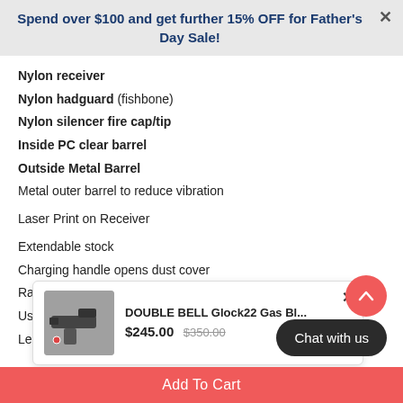Spend over $100 and get further 15% OFF for Father's Day Sale!
Nylon receiver
Nylon hadguard (fishbone)
Nylon silencer fire cap/tip
Inside PC clear barrel
Outside Metal Barrel
Metal outer barrel to reduce vibration
Laser Print on Receiver
Extendable stock
Charging handle opens dust cover
Rails on all 4 sides for tactical attachments
Uses 7-8mm gel balls
Length: 680mm/760mm, Adjustable
[Figure (screenshot): Product popup showing DOUBLE BELL Glock22 Gas Bl... at $245.00 (was $350.00) with a gun image]
Chat with us
Add To Cart